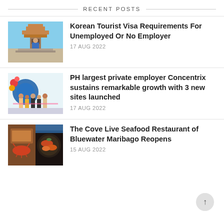RECENT POSTS
[Figure (photo): Person standing in front of a Korean traditional palace gate with blue sky]
Korean Tourist Visa Requirements For Unemployed Or No Employer
17 AUG 2022
[Figure (photo): Group of people posing in front of a colorful Concentrix branded backdrop]
PH largest private employer Concentrix sustains remarkable growth with 3 new sites launched
17 AUG 2022
[Figure (photo): Collage of seafood dishes at The Cove Live Seafood Restaurant]
The Cove Live Seafood Restaurant of Bluewater Maribago Reopens
15 AUG 2022